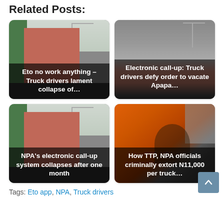Related Posts:
[Figure (photo): Trucks with shipping containers on a road, with a streetlight visible. Overlay text: Eto no work anything – Truck drivers lament collapse of…]
[Figure (photo): Trucks with shipping containers, overcast sky. Overlay text: Electronic call-up: Truck drivers defy order to vacate Apapa…]
[Figure (photo): Trucks with shipping containers on a road. Overlay text: NPA's electronic call-up system collapses after one month]
[Figure (photo): Man pointing at an orange DAF truck. Overlay text: How TTP, NPA officials criminally extort N11,000 per truck…]
Tags: Eto app, NPA, Truck drivers